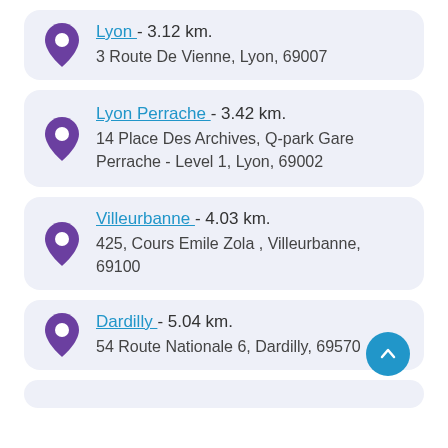Lyon - 3.12 km. 3 Route De Vienne, Lyon, 69007
Lyon Perrache - 3.42 km. 14 Place Des Archives, Q-park Gare Perrache - Level 1, Lyon, 69002
Villeurbanne - 4.03 km. 425, Cours Emile Zola , Villeurbanne, 69100
Dardilly - 5.04 km. 54 Route Nationale 6, Dardilly, 69570